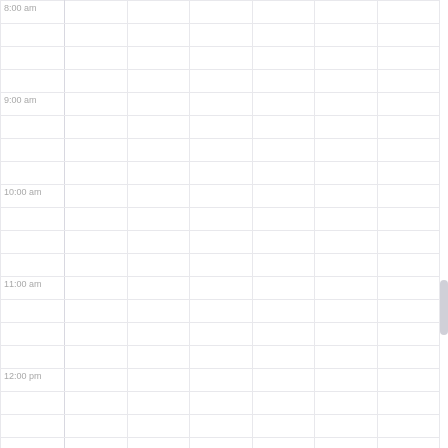| Time | Col1 | Col2 | Col3 | Col4 | Col5 | Col6 |
| --- | --- | --- | --- | --- | --- | --- |
| 8:00 am |  |  |  |  |  |  |
|  |  |  |  |  |  |  |
|  |  |  |  |  |  |  |
|  |  |  |  |  |  |  |
| 9:00 am |  |  |  |  |  |  |
|  |  |  |  |  |  |  |
|  |  |  |  |  |  |  |
|  |  |  |  |  |  |  |
| 10:00 am |  |  |  |  |  |  |
|  |  |  |  |  |  |  |
|  |  |  |  |  |  |  |
|  |  |  |  |  |  |  |
| 11:00 am |  |  |  |  |  |  |
|  |  |  |  |  |  |  |
|  |  |  |  |  |  |  |
|  |  |  |  |  |  |  |
| 12:00 pm |  |  |  |  |  |  |
|  |  |  |  |  |  |  |
|  |  |  |  |  |  |  |
|  |  |  |  |  |  |  |
| 1:00 pm |  |  |  |  |  |  |
|  |  |  |  |  |  |  |
|  |  |  |  |  |  |  |
|  |  |  |  |  |  |  |
| 2:00 pm |  |  |  |  |  |  |
|  |  |  |  |  |  |  |
|  |  |  |  |  |  |  |
|  |  |  |  |  |  |  |
| 3:00 pm |  |  |  |  |  |  |
|  |  |  |  |  |  |  |